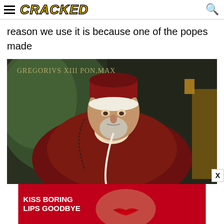CRACKED (logo with hamburger menu and search icon)
reason we use it is because one of the popes made us.
[Figure (photo): Portrait painting of Pope Gregory XIII (Gregorius XIII Pont.Max) seated in ornate chair wearing red papal vestments and white cap, with Latin inscription at top. Dark background with green drapery on left.]
[Figure (photo): Advertisement banner: KISS BORING LIPS GOODBYE with image of woman with red lips, SHOP NOW button and Macy's star logo on dark red background.]